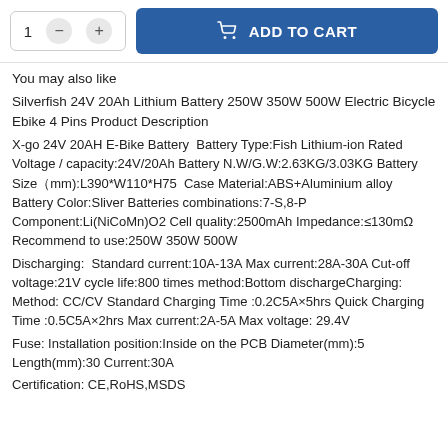[Figure (screenshot): Add to cart UI with quantity selector showing '1' with minus and plus buttons, and a blue 'ADD TO CART' button with shopping bag icon]
You may also like
Silverfish 24V 20Ah Lithium Battery 250W 350W 500W Electric Bicycle Ebike 4 Pins Product Description
X-go 24V 20AH E-Bike Battery  Battery Type:Fish Lithium-ion Rated Voltage / capacity:24V/20Ah Battery N.W/G.W:2.63KG/3.03KG Battery Size（mm):L390*W110*H75  Case Material:ABS+Aluminium alloy Battery Color:Sliver Batteries combinations:7-S,8-P Component:Li(NiCoMn)O2 Cell quality:2500mAh Impedance:≤130mΩ Recommend to use:250W 350W 500W
Discharging:  Standard current:10A-13A Max current:28A-30A Cut-off voltage:21V cycle life:800 times method:Bottom dischargeCharging: Method: CC/CV Standard Charging Time :0.2C5A×5hrs Quick Charging Time :0.5C5A×2hrs Max current:2A-5A Max voltage: 29.4V
Fuse: Installation position:Inside on the PCB Diameter(mm):5 Length(mm):30 Current:30A
Certification: CE,RoHS,MSDS